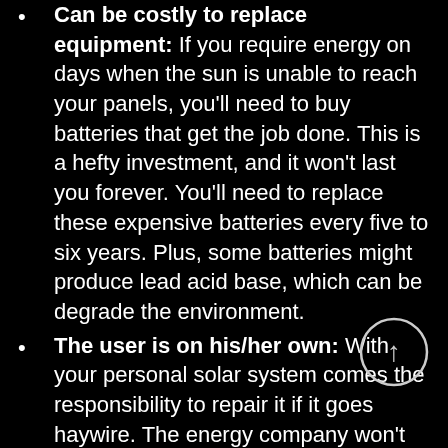Can be costly to replace equipment: If you require energy on days when the sun is unable to reach your panels, you'll need to buy batteries that get the job done. This is a hefty investment, and it won't last you forever. You'll need to replace these expensive batteries every five to six years. Plus, some batteries might produce lead acid base, which can be degrade the environment.
The user is on his/her own: With your personal solar system comes the responsibility to repair it if it goes haywire. The energy company won't be there to bail you out. That means you'll need to develop an understanding of how off-grid solar systems work and